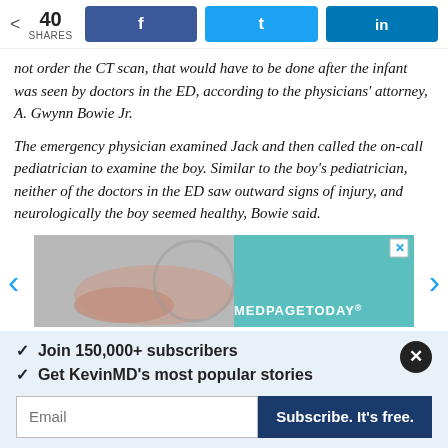40 SHARES | Share buttons: Facebook, Twitter, LinkedIn
not order the CT scan, that would have to be done after the infant was seen by doctors in the ED, according to the physicians' attorney, A. Gwynn Bowie Jr.
The emergency physician examined Jack and then called the on-call pediatrician to examine the boy. Similar to the boy's pediatrician, neither of the doctors in the ED saw outward signs of injury, and neurologically the boy seemed healthy, Bowie said.
[Figure (photo): MedPageToday advertisement banner showing hands and a person in teal clothing with MEDPAGETODAY brand text]
✓  Join 150,000+ subscribers
✓  Get KevinMD's most popular stories